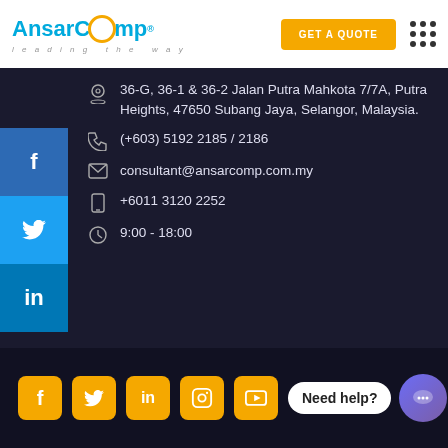[Figure (logo): AnsarComp logo with 'leading the way' tagline, orange circle in the C]
GET A QUOTE
36-G, 36-1 & 36-2 Jalan Putra Mahkota 7/7A, Putra Heights, 47650 Subang Jaya, Selangor, Malaysia.
(+603) 5192 2185 / 2186
consultant@ansarcomp.com.my
+6011 3120 2252
9:00 - 18:00
Need help?